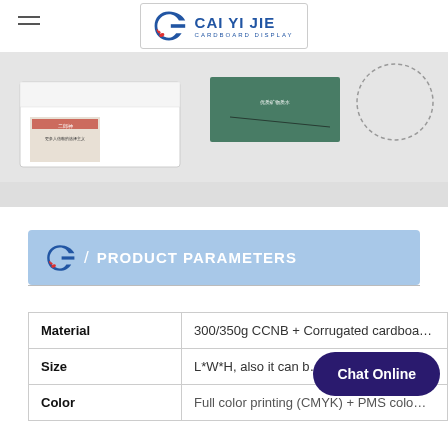CAI YI JIE CARDBOARD DISPLAY
[Figure (photo): Product photo showing a cardboard display box with Chinese branding, positioned on a surface next to other display items]
/ PRODUCT PARAMETERS
| Parameter | Value |
| --- | --- |
| Material | 300/350g CCNB + Corrugated cardboa... |
| Size | L*W*H, also it can b... |
| Color | Full color printing (CMYK) + PMS colo... |